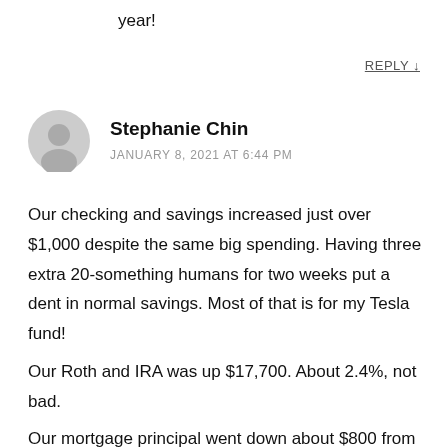year!
REPLY ↓
Stephanie Chin
JANUARY 8, 2021 AT 6:44 PM
Our checking and savings increased just over $1,000 despite the same big spending. Having three extra 20-something humans for two weeks put a dent in normal savings. Most of that is for my Tesla fund!
Our Roth and IRA was up $17,700. About 2.4%, not bad.
Our mortgage principal went down about $800 from the regular monthly payment.